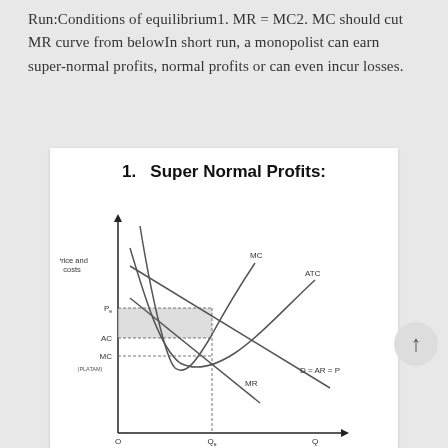Run:Conditions of equilibrium1. MR = MC2. MC should cut MR curve from belowIn short run, a monopolist can earn super-normal profits, normal profits or can even incur losses.
1. Super Normal Profits:
[Figure (continuous-plot): Economics diagram showing monopoly super normal profits. Y-axis labeled 'Price and costs', X-axis showing Q with Q_e marked. Curves shown: MC (U-shaped), ATC (U-shaped), D=AR=P (downward sloping demand), MR (steeper downward slope). Horizontal dashed lines at P_e, AC, and MC levels. Shaded rectangle between P_e and AC at Q_e representing supernormal profit area. Labels: MC, ATC on curves; MR, D=AR=P on demand curves; P_e, AC, MC on y-axis; Q_0, Q_e on x-axis.]